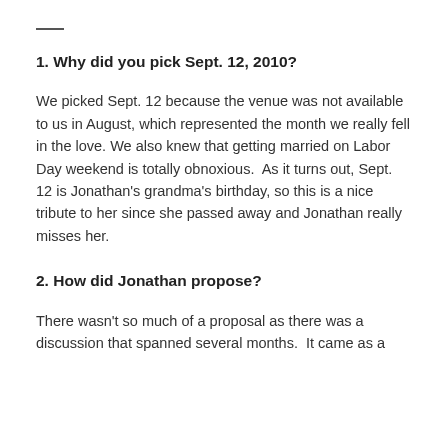—
1. Why did you pick Sept. 12, 2010?
We picked Sept. 12 because the venue was not available to us in August, which represented the month we really fell in the love. We also knew that getting married on Labor Day weekend is totally obnoxious.  As it turns out, Sept. 12 is Jonathan's grandma's birthday, so this is a nice tribute to her since she passed away and Jonathan really misses her.
2. How did Jonathan propose?
There wasn't so much of a proposal as there was a discussion that spanned several months.  It came as a